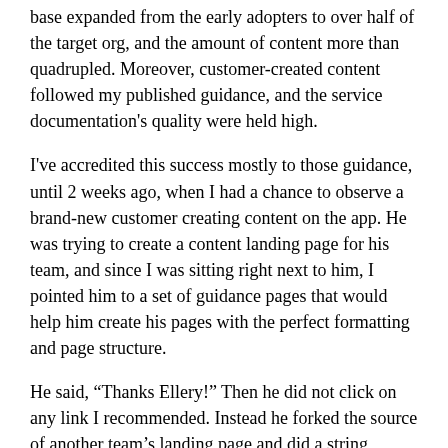base expanded from the early adopters to over half of the target org, and the amount of content more than quadrupled. Moreover, customer-created content followed my published guidance, and the service documentation's quality were held high.
I've accredited this success mostly to those guidance, until 2 weeks ago, when I had a chance to observe a brand-new customer creating content on the app. He was trying to create a content landing page for his team, and since I was sitting right next to him, I pointed him to a set of guidance pages that would help him create his pages with the perfect formatting and page structure.
He said, “Thanks Ellery!” Then he did not click on any link I recommended. Instead he forked the source of another team’s landing page and did a string replacement. Done.
Curious, I asked him why he bypassed all guidance creating content, when he had previously expressed he cared much about the quality of content he creates. He said, “I just want a page that gets the job done. I know every team here